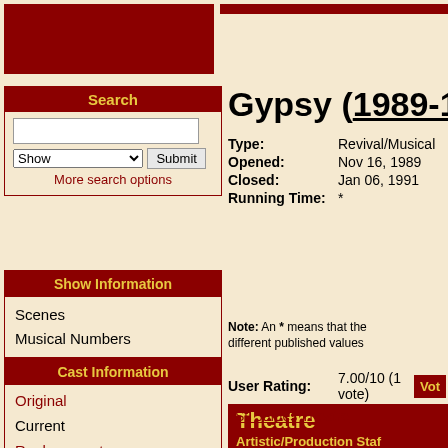Search
Show
Submit
More search options
Show Information
Scenes
Musical Numbers
Cast Information
Original
Current
Replacements
Full Cast
Gypsy (1989-1990)
Type: Revival/Musical
Opened: Nov 16, 1989
Closed: Jan 06, 1991
Running Time: *
Note: An * means that the running time has different published values
User Rating: 7.00/10 (1 vote) Vote
Theatre
St. James Theatre
Artistic/Production Staff